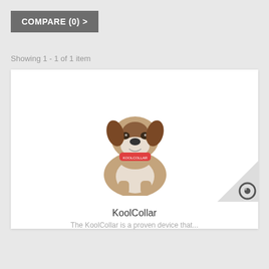COMPARE (0) >
Showing 1 - 1 of 1 item
[Figure (photo): A boxer dog wearing a red KoolCollar device around its neck, sitting upright against a white background. The collar is red/pink with text on it.]
KoolCollar
The KoolCollar is a proven device that...